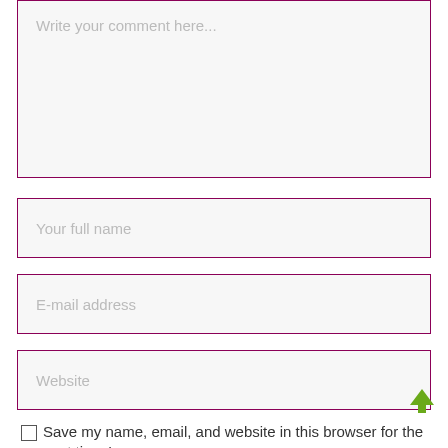Write your comment here...
Your full name
E-mail address
Website
Save my name, email, and website in this browser for the next time I